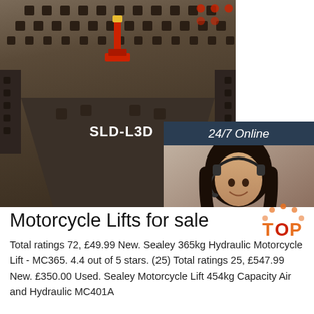[Figure (photo): Industrial surface table or welding fixture table (SLD-L3D) with grid of square holes and red hydraulic lift element in center, photographed from above at an angle. A live chat widget with '24/7 Online', a female customer service representative wearing a headset, 'Click here for free chat!' text, and an orange 'QUOTATION' button overlays the top-right.]
Motorcycle Lifts for sale
Total ratings 72, £49.99 New. Sealey 365kg Hydraulic Motorcycle Lift - MC365. 4.4 out of 5 stars. (25) Total ratings 25, £547.99 New. £350.00 Used. Sealey Motorcycle Lift 454kg Capacity Air and Hydraulic MC401A